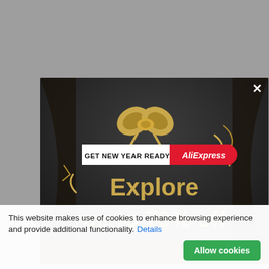[Figure (screenshot): AliExpress popup modal on a gray background. The modal has a dark background with a bow/ribbon decoration at the top. A badge reads 'GET NEW YEAR READY' in white/black on left and 'AliExpress' in red on right. Large golden text reads 'Explore up to 70% off'. A white X close button is at top-right of modal.]
This website makes use of cookies to enhance browsing experience and provide additional functionality. Details